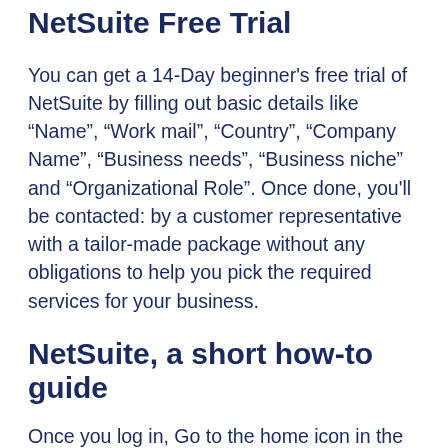NetSuite Free Trial
You can get a 14-Day beginner's free trial of NetSuite by filling out basic details like “Name”, “Work mail”, “Country”, “Company Name”, “Business needs”, "Business niche" and "Organizational Role". Once done, you'll be contacted: by a customer representative with a tailor-made package without any obligations to help you pick the required services for your business.
NetSuite, a short how-to guide
Once you log in, Go to the home icon in the menu